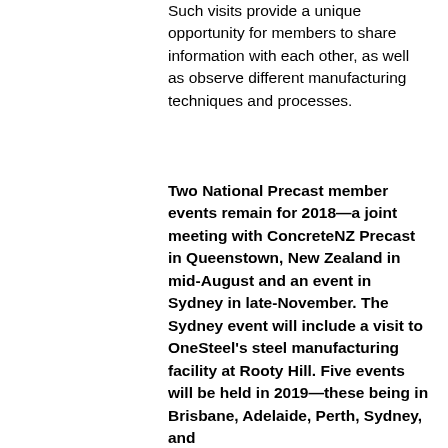Such visits provide a unique opportunity for members to share information with each other, as well as observe different manufacturing techniques and processes.
Two National Precast member events remain for 2018—a joint meeting with ConcreteNZ Precast in Queenstown, New Zealand in mid-August and an event in Sydney in late-November. The Sydney event will include a visit to OneSteel's steel manufacturing facility at Rooty Hill. Five events will be held in 2019—these being in Brisbane, Adelaide, Perth, Sydney, and